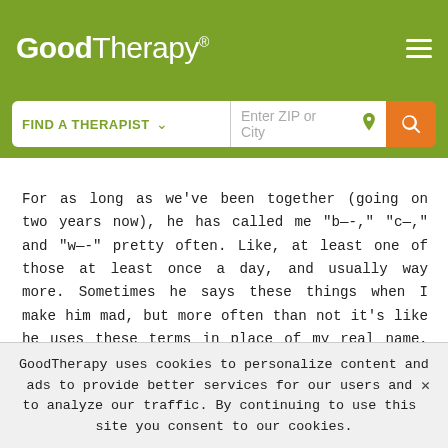GoodTherapy®
[Figure (screenshot): Search bar with 'FIND A THERAPIST' dropdown and 'Enter ZIP or City' input field, with location icon and orange search button]
For as long as we've been together (going on two years now), he has called me "b—-," "c—," and "w—-" pretty often. Like, at least one of those at least once a day, and usually way more. Sometimes he says these things when I make him mad, but more often than not it's like he uses these terms in place of my real name, almost like a playful nickname? I have asked him once or twice why he does it and he says I shouldn't overthink it and they're just "terms of endearment."
Obviously, I'm used to it after all this time, but whenever he
GoodTherapy uses cookies to personalize content and ads to provide better services for our users and to analyze our traffic. By continuing to use this site you consent to our cookies.